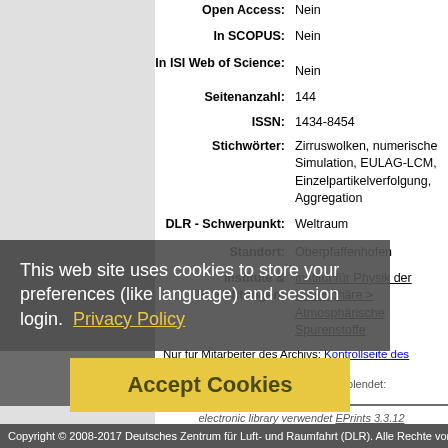| Field | Value |
| --- | --- |
| Open Access: | Nein |
| In SCOPUS: | Nein |
| In ISI Web of Science: | Nein |
| Seitenanzahl: | 144 |
| ISSN: | 1434-8454 |
| Stichwörter: | Zirruswolken, numerische Simulation, EULAG-LCM, Einzelpartikelverfolgung, Aggregation |
| DLR - Schwerpunkt: | Weltraum |
| DLR - Forschungsgebiet: | W EO - Erdbeobachtung |
| Standort: | Oberpfaffenhofen |
| Institute & Einrichtungen: | Institut für Physik der Atmosphäre > Atmosphärische Spurenstoffe |
Nur für Mitarbeiter des Archivs: Kontrollseite des Eintrags
Einige Felder oben sind zurzeit ausgeblendet: Alle Felder anzeigen
This web site uses cookies to store your preferences (like language) and session login.  Privacy Policy
Accept Cookies
electronic library verwendet EPrints 3.3.12
Copyright © 2008-2017 Deutsches Zentrum für Luft- und Raumfahrt (DLR). Alle Rechte vorb...